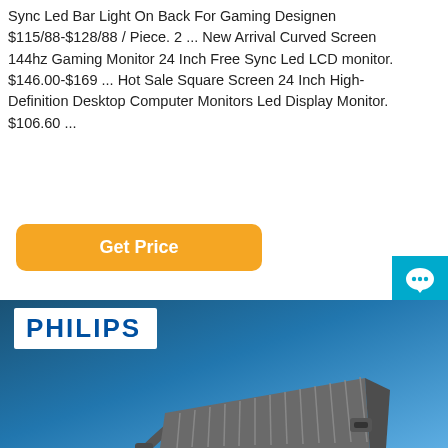Sync Led Bar Light On Back For Gaming Designen $115/88-$128/88 / Piece. 2 ... New Arrival Curved Screen 144hz Gaming Monitor 24 Inch Free Sync Led LCD monitor. $146.00-$169 ... Hot Sale Square Screen 24 Inch High-Definition Desktop Computer Monitors Led Display Monitor. $106.60 ...
[Figure (other): Orange 'Get Price' button]
[Figure (other): Blue 'Free Chat' chat bubble button on right side]
[Figure (photo): Philips branded LED floodlight product image on blue gradient background, showing back of the fixture with heat sink fins and mounting bracket]